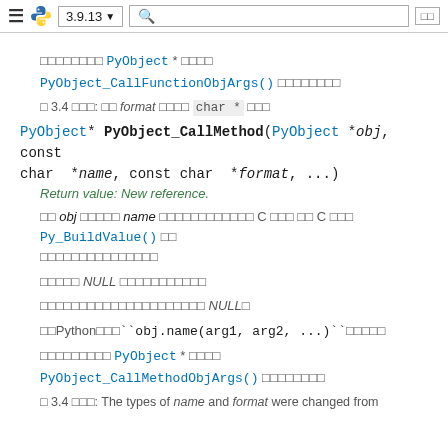≡ 🐍 3.9.13 ▼ 🔍 □□
□□□□□□□□ PyObject * □□□□ PyObject_CallFunctionObjArgs() □□□□□□□□
□ 3.4 □□□: □□ format □□□□ char * □□□
PyObject* PyObject_CallMethod(PyObject *obj, const char *name, const char *format, ...)
Return value: New reference.
□□ obj □□□□□ name □□□□□□□□□□□□ C □□□ □□ C □□□ Py_BuildValue() □□ □□□□□□□□□□□□□□□
□□□□□ NULL □□□□□□□□□□□
□□□□□□□□□□□□□□□□□□□□□ NULL□
□□Python□□□``obj.name(arg1, arg2, ...)``□□□□□
□□□□□□□□□ PyObject * □□□□ PyObject_CallMethodObjArgs() □□□□□□□□
□ 3.4 □□□: The types of name and format were changed from